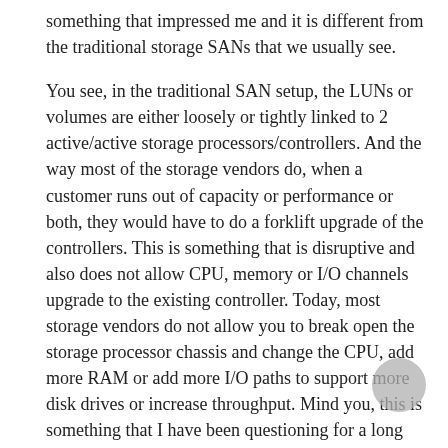something that impressed me and it is different from the traditional storage SANs that we usually see.

You see, in the traditional SAN setup, the LUNs or volumes are either loosely or tightly linked to 2 active/active storage processors/controllers. And the way most of the storage vendors do, when a customer runs out of capacity or performance or both, they would have to do a forklift upgrade of the controllers. This is something that is disruptive and also does not allow CPU, memory or I/O channels upgrade to the existing controller. Today, most storage vendors do not allow you to break open the storage processor chassis and change the CPU, add more RAM or add more I/O paths to support more disk drives or increase throughput. Mind you, this is something that I have been questioning for a long time but as the storage networking industry has it, you got to upgrade the entire storage processor or controller in order to get more power and capacity.

The P4000 (as well as the Dell EqualLogic) approaches this from